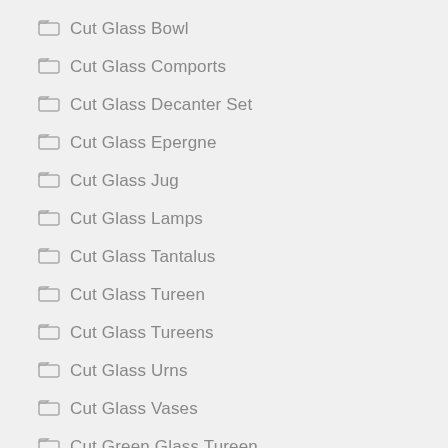Cut Glass Bowl
Cut Glass Comports
Cut Glass Decanter Set
Cut Glass Epergne
Cut Glass Jug
Cut Glass Lamps
Cut Glass Tantalus
Cut Glass Tureen
Cut Glass Tureens
Cut Glass Urns
Cut Glass Vases
Cut Green Glass Tureen
Cutlery Cabinet